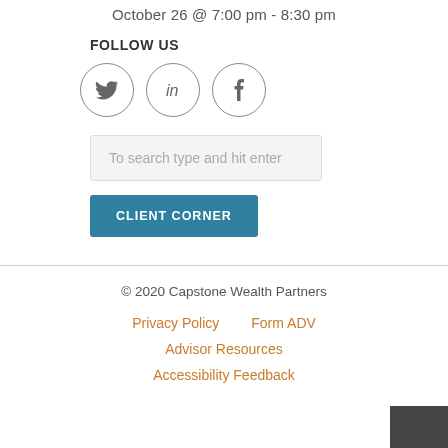October 26 @ 7:00 pm - 8:30 pm
FOLLOW US
[Figure (infographic): Three social media icon circles: Twitter (bird), LinkedIn (in), Facebook (f)]
To search type and hit enter
CLIENT CORNER
© 2020 Capstone Wealth Partners
Privacy Policy    Form ADV    Advisor Resources    Accessibility Feedback